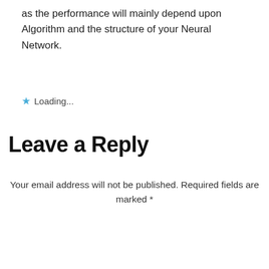as the performance will mainly depend upon Algorithm and the structure of your Neural Network.
★ Loading...
Leave a Reply
Your email address will not be published. Required fields are marked *
[Figure (screenshot): Empty textarea input field with scroll-to-top button (dark square with caret/up arrow)]